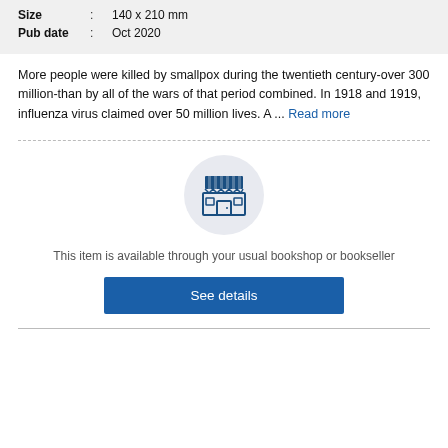| Size | : | 140 x 210 mm |
| Pub date | : | Oct 2020 |
More people were killed by smallpox during the twentieth century-over 300 million-than by all of the wars of that period combined. In 1918 and 1919, influenza virus claimed over 50 million lives. A ... Read more
[Figure (illustration): Store/bookshop icon inside a light gray circle]
This item is available through your usual bookshop or bookseller
See details